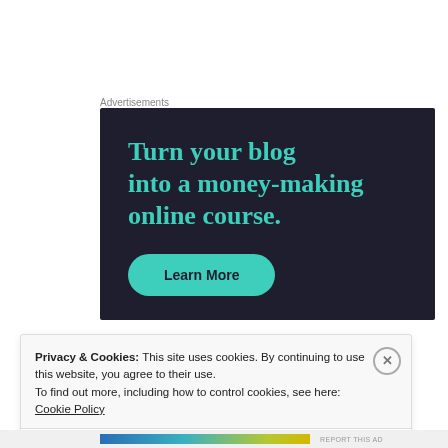Advertisements
[Figure (illustration): Advertisement banner with dark navy background showing text 'Turn your blog into a money-making online course.' in teal serif font, with a teal 'Learn More' rounded button below.]
Privacy & Cookies: This site uses cookies. By continuing to use this website, you agree to their use.
To find out more, including how to control cookies, see here: Cookie Policy
Close and accept